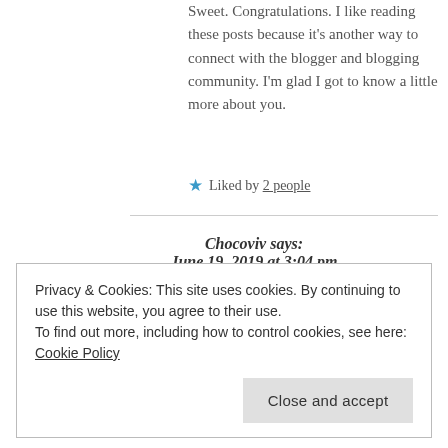Sweet. Congratulations. I like reading these posts because it's another way to connect with the blogger and blogging community. I'm glad I got to know a little more about you.
Liked by 2 people
Chocoviv says: June 19, 2019 at 3:04 pm
Privacy & Cookies: This site uses cookies. By continuing to use this website, you agree to their use.
To find out more, including how to control cookies, see here: Cookie Policy